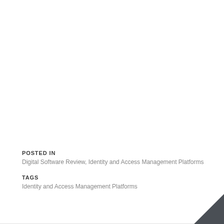POSTED IN
Digital Software Review, Identity and Access Management Platforms
TAGS
Identity and Access Management Platforms